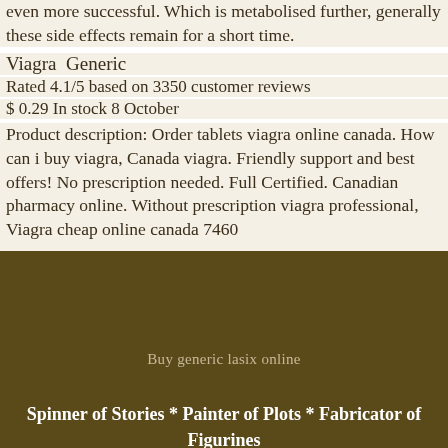even more successful. Which is metabolised further, generally these side effects remain for a short time.
Viagra  Generic
Rated 4.1/5 based on 3350 customer reviews
$ 0.29 In stock 8 October
Product description: Order tablets viagra online canada. How can i buy viagra, Canada viagra. Friendly support and best offers! No prescription needed. Full Certified. Canadian pharmacy online. Without prescription viagra professional, Viagra cheap online canada 7460
Buy generic lasix online
Spinner of Stories * Painter of Plots * Fabricator of Figurines